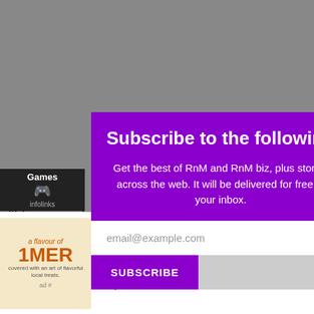"I have worked ... and he is known for h... the song in 'Bahubal... nate the options o... leep. I had a gentle ... s in my
[Figure (screenshot): Subscribe to the following popup modal with purple background, email input field, and SUBSCRIBE button]
[Figure (screenshot): Infolinks Games advertisement bar on the left side]
[Figure (screenshot): Cheryl's Cookie Delivery advertisement banner at the bottom of the page]